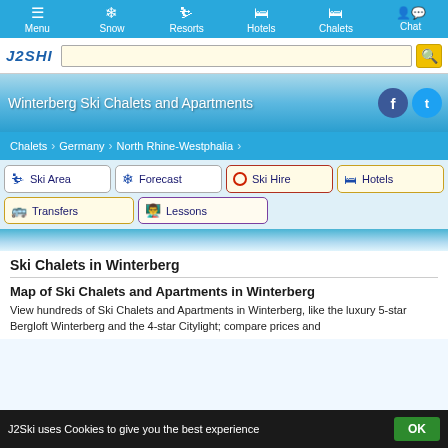Menu | Snow | Resorts | Hotels | Chalets | Chat
[Figure (screenshot): J2Ski logo and search bar with yellow search button]
Winterberg Ski Chalets and Apartments
Chalets > Germany > North Rhine-Westphalia
Ski Area
Forecast
Ski Hire
Hotels
Transfers
Lessons
Ski Chalets in Winterberg
Map of Ski Chalets and Apartments in Winterberg
View hundreds of Ski Chalets and Apartments in Winterberg, like the luxury 5-star Bergloft Winterberg and the 4-star Citylight; compare prices and
J2Ski uses Cookies to give you the best experience